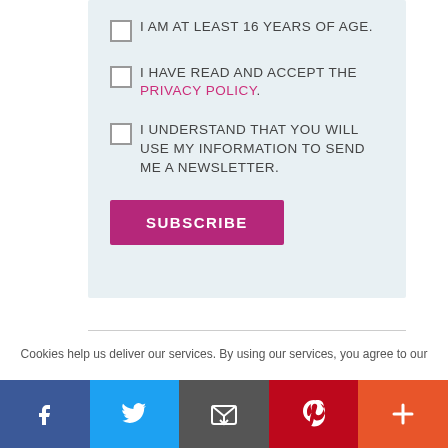I AM AT LEAST 16 YEARS OF AGE.
I HAVE READ AND ACCEPT THE PRIVACY POLICY.
I UNDERSTAND THAT YOU WILL USE MY INFORMATION TO SEND ME A NEWSLETTER.
SUBSCRIBE
Cookies help us deliver our services. By using our services, you agree to our